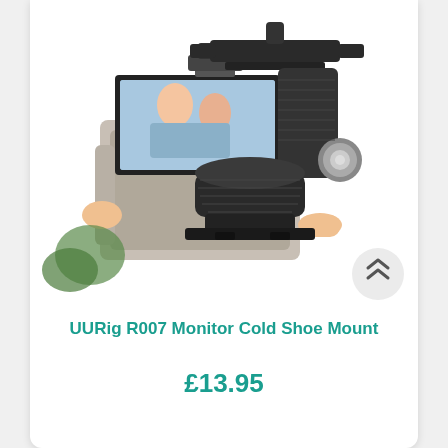[Figure (photo): Product photo showing UURig R007 Monitor Cold Shoe Mount — a black aluminum camera accessory mount with knurled adjustment knob and hot/cold shoe interface. Also shows in-use photo of monitor mounted on camera.]
UURig R007 Monitor Cold Shoe Mount
£13.95